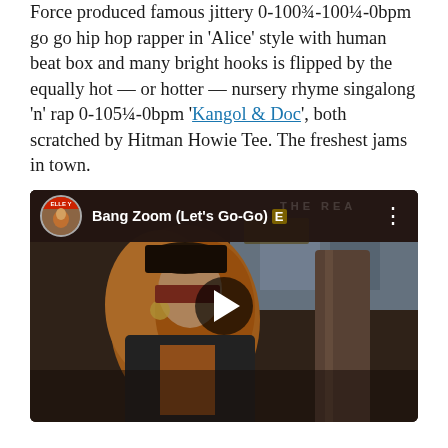Force produced famous jittery 0-100¾-100¼-0bpm go go hip hop rapper in 'Alice' style with human beat box and many bright hooks is flipped by the equally hot — or hotter — nursery rhyme singalong 'n' rap 0-105¼-0bpm 'Kangol & Doc', both scratched by Hitman Howie Tee. The freshest jams in town.
[Figure (screenshot): YouTube video embed showing 'Bang Zoom (Let’s Go-Go)' with a woman in 1980s hip-hop fashion, dark overlay header with channel avatar, video title, and a play button in the center]